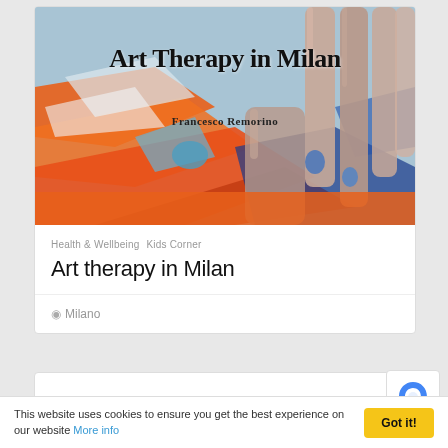[Figure (illustration): Book cover image for 'Art Therapy in Milan' by Francesco Remorino, showing hands with paint on a colorful abstract background of orange, blue and white paint strokes]
Art Therapy in Milan
Francesco Remorino
Health & Wellbeing  Kids Corner
Art therapy in Milan
Milano
This website uses cookies to ensure you get the best experience on our website More info